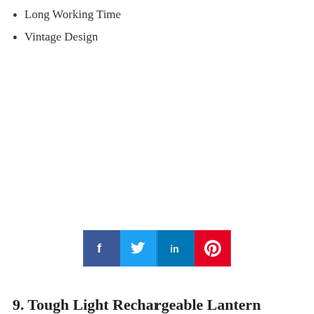Long Working Time
Vintage Design
[Figure (infographic): Social media share buttons: Facebook (dark blue), Twitter (light blue), LinkedIn (blue), Pinterest (red)]
9. Tough Light Rechargeable Lantern